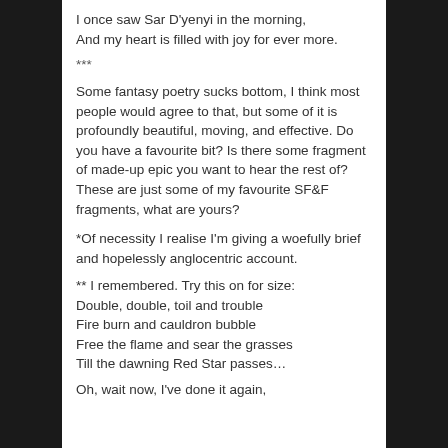I once saw Sar D'yenyi in the morning,
And my heart is filled with joy for ever more.
***
Some fantasy poetry sucks bottom, I think most people would agree to that, but some of it is profoundly beautiful, moving, and effective. Do you have a favourite bit? Is there some fragment of made-up epic you want to hear the rest of? These are just some of my favourite SF&F fragments, what are yours?
*Of necessity I realise I'm giving a woefully brief and hopelessly anglocentric account.
** I remembered. Try this on for size:
Double, double, toil and trouble
Fire burn and cauldron bubble
Free the flame and sear the grasses
Till the dawning Red Star passes…
Oh, wait now, I've done it again,